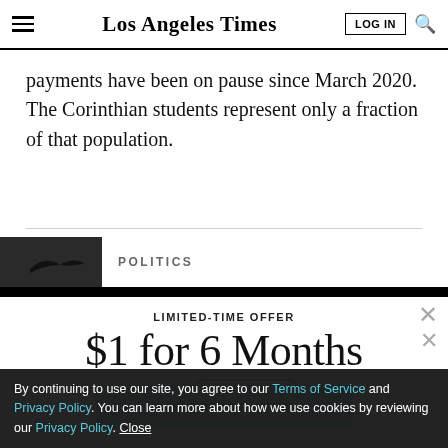Los Angeles Times
payments have been on pause since March 2020. The Corinthian students represent only a fraction of that population.
POLITICS
LIMITED-TIME OFFER
$1 for 6 Months
SUBSCRIBE NOW
By continuing to use our site, you agree to our Terms of Service and Privacy Policy. You can learn more about how we use cookies by reviewing our Privacy Policy. Close